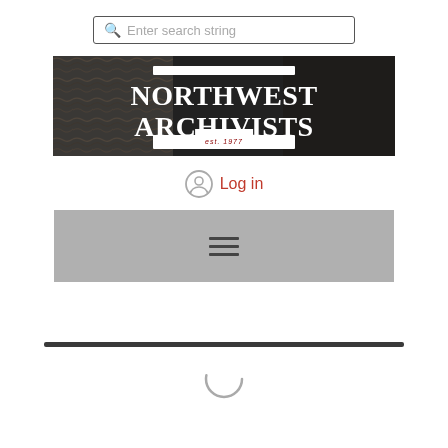[Figure (screenshot): Search bar with magnifying glass icon and placeholder text 'Enter search string']
[Figure (logo): Northwest Archivists banner with rocky texture background, large white bold text 'NORTHWEST ARCHIVISTS', white horizontal lines top and bottom, 'est. 1977' in red italic on white bar at bottom]
Log in
[Figure (screenshot): Gray navigation bar with hamburger menu icon (three horizontal lines)]
[Figure (other): Dark horizontal divider line and partial loading spinner circle at the bottom of the page]